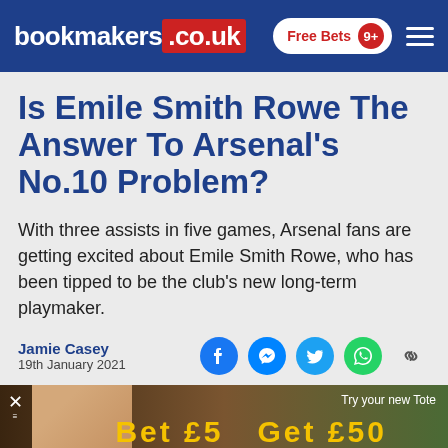bookmakers.co.uk — Free Bets 9+
Is Emile Smith Rowe The Answer To Arsenal's No.10 Problem?
With three assists in five games, Arsenal fans are getting excited about Emile Smith Rowe, who has been tipped to be the club's new long-term playmaker.
Jamie Casey
19th January 2021
[Figure (screenshot): Advertisement banner with woman, 'Try your new Tote' text and golden text overlay]
We use cookies to improve our service and to enhance your user experience. For more information, or to change your cookie settings, please click Privacy Policy  OK